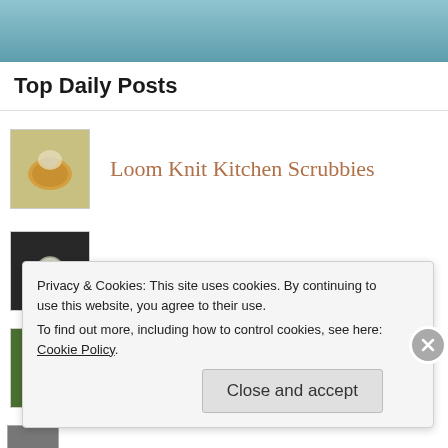Top Daily Posts
Loom Knit Kitchen Scrubbies
Fox Eggs
Mystery Tree - Solved - Paulownia tomentosa
Privacy & Cookies: This site uses cookies. By continuing to use this website, you agree to their use.
To find out more, including how to control cookies, see here: Cookie Policy.
Close and accept